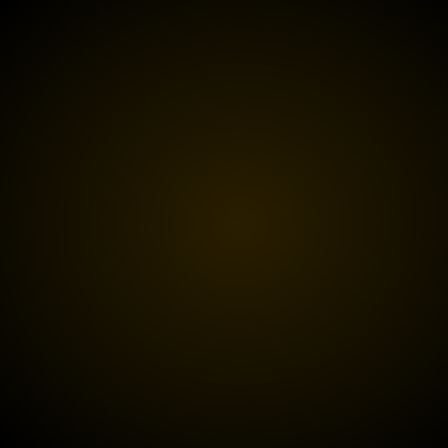| Level | Score | 0 |
| --- | --- | --- |
| Wheelie 3: King of the Wheels | 142 | 0 |
| Dynamic 1: Bit Tricky | 238 | 0 |
| Dynamic 2: Fun With Physics? | 241 | 0 |
| Dynamic 3: Shaky Grounds | 242 | 0 |
| Dynamic 4: Step Up! | 254 | 0 |
| Downloadable-1: Autobahn | 526 | 0 |
| Downloadable-2: Death Slopes | 301 | 0 |
| Downloadable-3: Full Throttle! | 325 | 0 |
| Downloadable-4: Grindhouse | 555 | 0 |
| Downloadable-5: Let It Flip | 246 | 0 |
| Downloadable-6: Maze | 230 | 0 |
| Downloadable-7: No Air | 177 | 0 |
| Downloadable-8: Rock Bottom | 408 | 0 |
| Downloadable-9: |  |  |